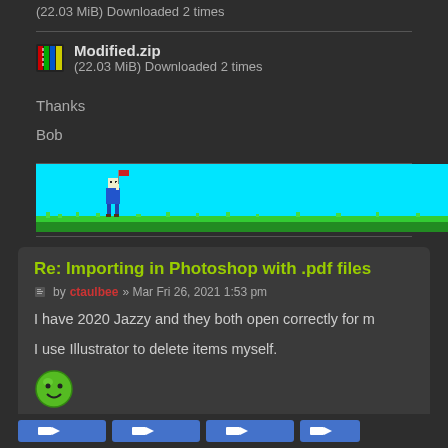(22.03 MiB) Downloaded 2 times
[Figure (illustration): WinRAR zip file icon — colorful vertical bars (red, green, blue, yellow) forming a compressed archive icon]
Modified.zip
(22.03 MiB) Downloaded 2 times
Thanks

Bob
[Figure (screenshot): A pixel-art game banner showing a character in blue overalls holding a flag on a green grassy landscape with a cyan sky background]
Re: Importing in Photoshop with .pdf files
by ctaulbee » Mar Fri 26, 2021 1:53 pm
I have 2020 Jazzy and they both open correctly for m
I use Illustrator to delete items myself.
[Figure (illustration): Green smiley face emoticon]